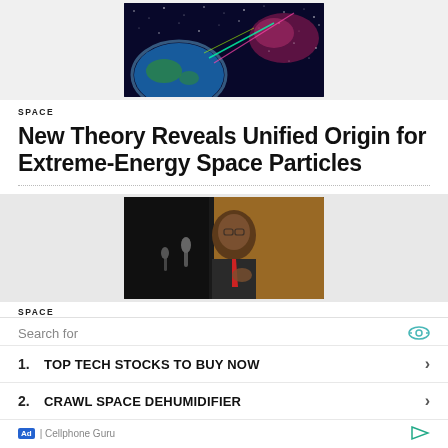[Figure (photo): Space/astronomy illustration showing Earth and colorful cosmic rays or particles against a starry background]
SPACE
New Theory Reveals Unified Origin for Extreme-Energy Space Particles
[Figure (photo): A man in a dark suit with a red tie speaking at a podium with microphones, against an orange/golden background]
SPACE
Search for
1. TOP TECH STOCKS TO BUY NOW
2. CRAWL SPACE DEHUMIDIFIER
Ad | Cellphone Guru